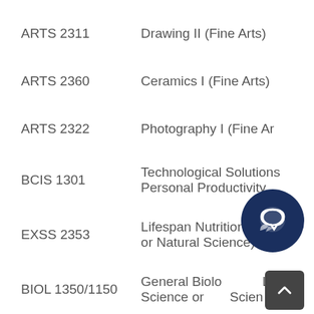| Course Code | Course Name |
| --- | --- |
| ARTS 2311 | Drawing II (Fine Arts) |
| ARTS 2360 | Ceramics I (Fine Arts) |
| ARTS 2322 | Photography I (Fine Arts) |
| BCIS 1301 | Technological Solutions Personal Productivity |
| EXSS 2353 | Lifespan Nutrition (Global or Natural Science) |
| BIOL 1350/1150 | General Biology with Lab Science or Natural Science |
| BIOL 1360/1160 | General Biology II with Lab |